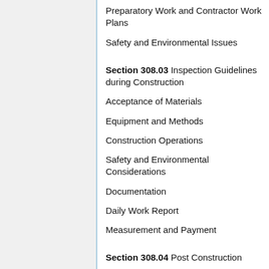Preparatory Work and Contractor Work Plans
Safety and Environmental Issues
Section 308.03 Inspection Guidelines during Construction
Acceptance of Materials
Equipment and Methods
Construction Operations
Safety and Environmental Considerations
Documentation
Daily Work Report
Measurement and Payment
Section 308.04 Post Construction